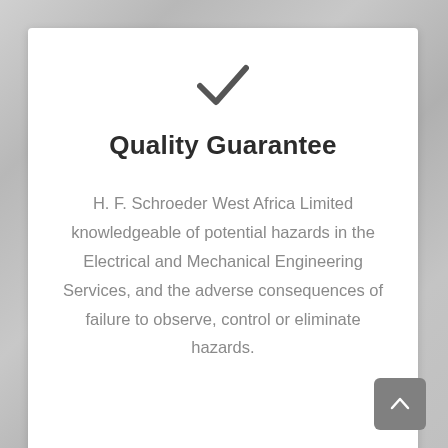[Figure (illustration): Dark grey checkmark icon centered above the title]
Quality Guarantee
H. F. Schroeder West Africa Limited knowledgeable of potential hazards in the Electrical and Mechanical Engineering Services, and the adverse consequences of failure to observe, control or eliminate hazards.